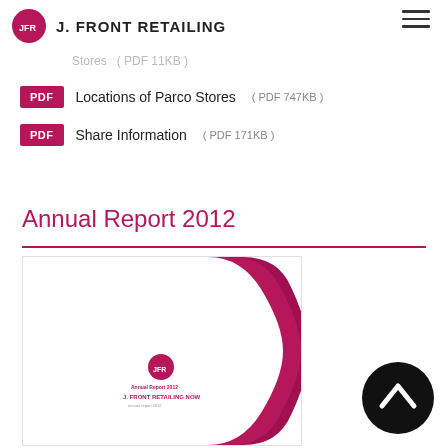J. FRONT RETAILING
Stores ( PDF 11KB )
Locations of Parco Stores ( PDF 747KB )
Share Information ( PDF 171KB )
Annual Report 2012
[Figure (photo): Cover of J. Front Retailing Annual Report 2012, white background with a dark pink/magenta curved design element and JFR logo]